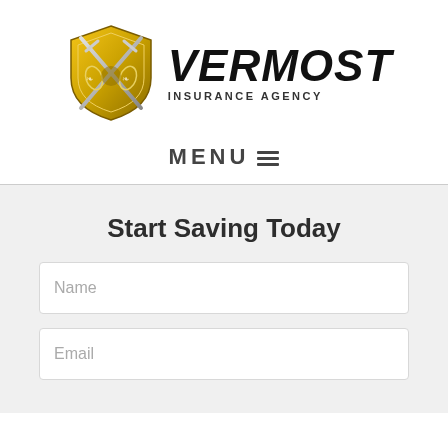[Figure (logo): Vermost Insurance Agency logo with golden shield and crossed swords emblem, company name in bold italic black text]
MENU ≡
Start Saving Today
Name
Email